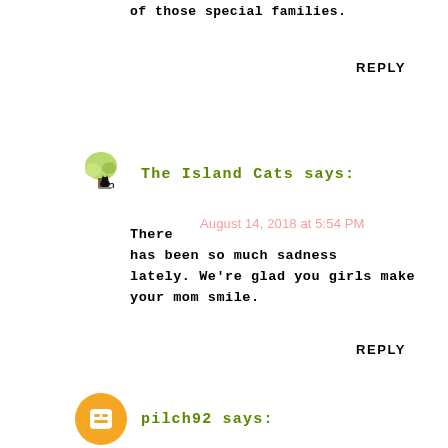of those special families.
REPLY
The Island Cats says:
August 14, 2018 at 5:54 PM
There has been so much sadness lately. We're glad you girls make your mom smile.
REPLY
pilch92 says: